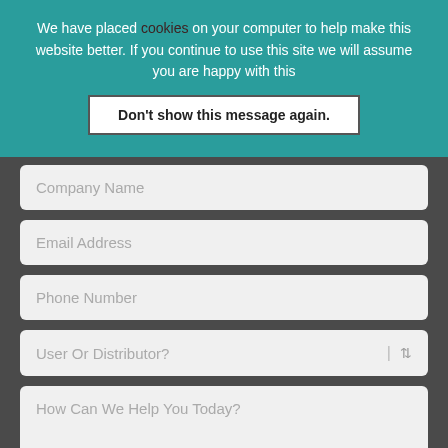We have placed cookies on your computer to help make this website better. If you continue to use this site we will assume you are happy with this
Don't show this message again.
Company Name
Email Address
Phone Number
User Or Distributor?
How Can We Help You Today?